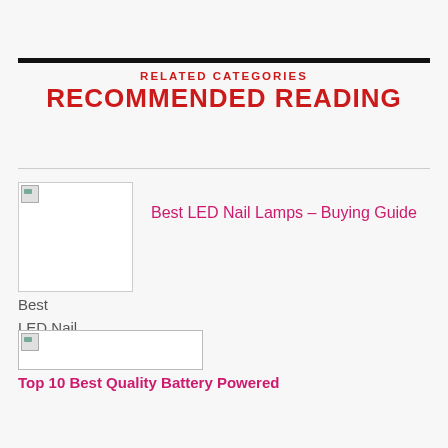RELATED CATEGORIES
RECOMMENDED READING
[Figure (illustration): Broken image placeholder for Best LED Nail Lamps with alt text visible]
Best LED Nail Lamps – Buying Guide
[Figure (illustration): Broken image placeholder for second article]
Top 10 Best Quality Battery Powered